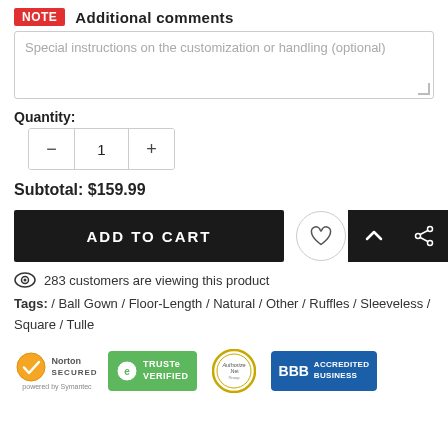NOTE  Additional comments
Special instructions on the customization or handling (optional)
Quantity:
1
Subtotal:  $159.99
ADD TO CART
283 customers are viewing this product
Tags: / Ball Gown / Floor-Length / Natural / Other / Ruffles / Sleeveless / Square / Tulle
[Figure (logo): Trust badges: Norton Secured powered by Symantec, TRUSTe Verified, Authorize.Net, BBB Accredited Business]